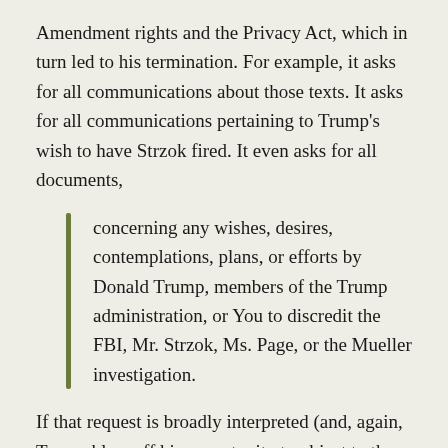Amendment rights and the Privacy Act, which in turn led to his termination. For example, it asks for all communications about those texts. It asks for all communications pertaining to Trump’s wish to have Strzok fired. It even asks for all documents,
concerning any wishes, desires, contemplations, plans, or efforts by Donald Trump, members of the Trump administration, or You to discredit the FBI, Mr. Strzok, Ms. Page, or the Mueller investigation.
If that request is broadly interpreted (and, again, Trump blew off his opportunity to object to the scope of the request), it’ll cover Trump actions right